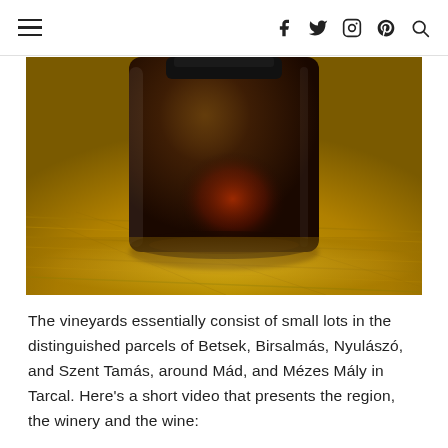≡  f  𝕥  ○  ⊕  🔍
[Figure (photo): Close-up photograph of the base of a dark amber glass bottle sitting on a woven golden/yellow textile surface, with warm dark reddish-brown tones inside the glass.]
The vineyards essentially consist of small lots in the distinguished parcels of Betsek, Birsalmás, Nyulászó, and Szent Tamás, around Mád, and Mézes Mály in Tarcal. Here's a short video that presents the region, the winery and the wine: